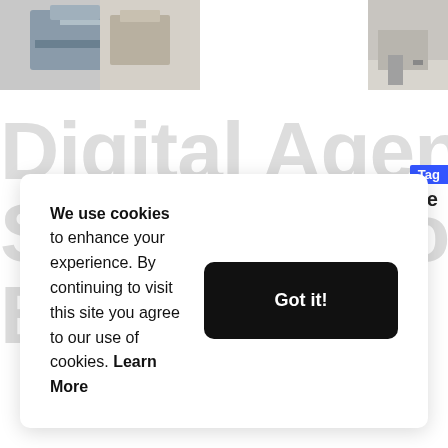[Figure (photo): Partially visible photo of moving boxes or stacked items, cropped at top center]
[Figure (photo): Partially visible photo of a wall or room corner, cropped at top right]
Digital Agency Services For Any Business
Tag
Be
We use cookies to enhance your experience. By continuing to visit this site you agree to our use of cookies. Learn More